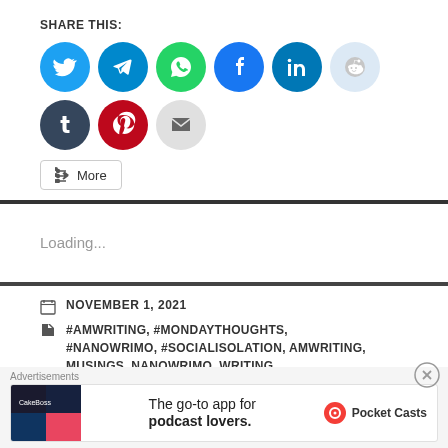SHARE THIS:
[Figure (infographic): Row of social media sharing icon buttons: Twitter (blue), Telegram (blue), WhatsApp (green), Facebook (blue), LinkedIn (dark blue), Reddit (light blue), Tumblr (dark navy), Pinterest (red), Email (gray)]
More
Loading...
NOVEMBER 1, 2021
#AMWRITING, #MONDAYTHOUGHTS, #NANOWRIMO, #SOCIALISOLATION, AMWRITING, MUSINGS, NANOWRIMO, WRITING
Advertisements
[Figure (infographic): Pocket Casts advertisement: The go-to app for podcast lovers.]